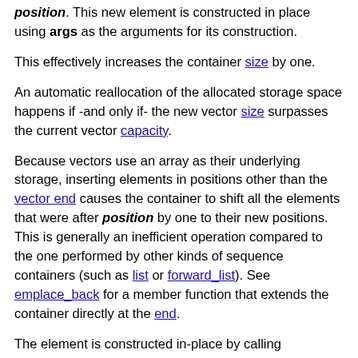position. This new element is constructed in place using args as the arguments for its construction.
This effectively increases the container size by one.
An automatic reallocation of the allocated storage space happens if -and only if- the new vector size surpasses the current vector capacity.
Because vectors use an array as their underlying storage, inserting elements in positions other than the vector end causes the container to shift all the elements that were after position by one to their new positions. This is generally an inefficient operation compared to the one performed by other kinds of sequence containers (such as list or forward_list). See emplace_back for a member function that extends the container directly at the end.
The element is constructed in-place by calling